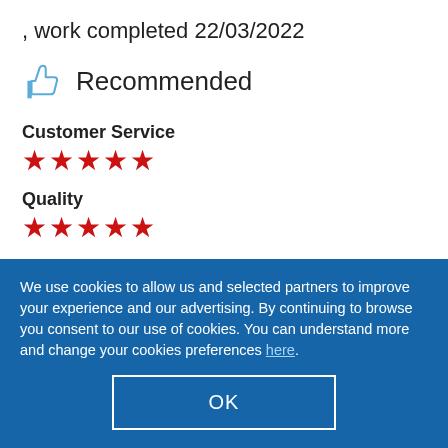, work completed 22/03/2022
Recommended
Customer Service
★★★★★
Quality
★★★★★
Value
We use cookies to allow us and selected partners to improve your experience and our advertising. By continuing to browse you consent to our use of cookies. You can understand more and change your cookies preferences here.
OK